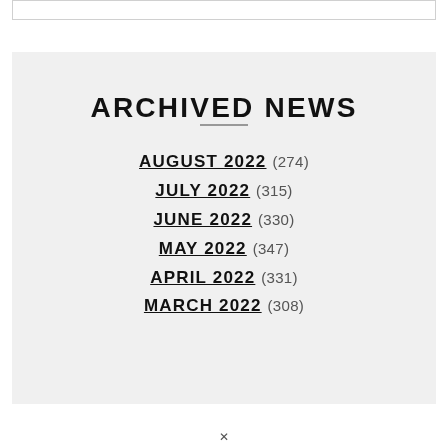ARCHIVED NEWS
AUGUST 2022 (274)
JULY 2022 (315)
JUNE 2022 (330)
MAY 2022 (347)
APRIL 2022 (331)
MARCH 2022 (308)